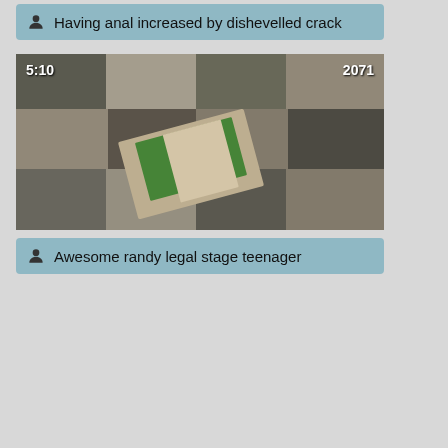Having anal increased by dishevelled crack
[Figure (photo): Thumbnail of a patchwork quilt with a magazine on top, showing duration 5:10 and view count 2071]
Awesome randy legal stage teenager